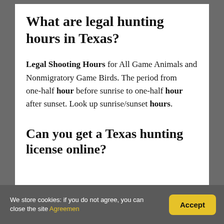What are legal hunting hours in Texas?
Legal Shooting Hours for All Game Animals and Nonmigratory Game Birds. The period from one-half hour before sunrise to one-half hour after sunset. Look up sunrise/sunset hours.
Can you get a Texas hunting license online?
We store cookies: if you do not agree, you can close the site Agreemen   Accept